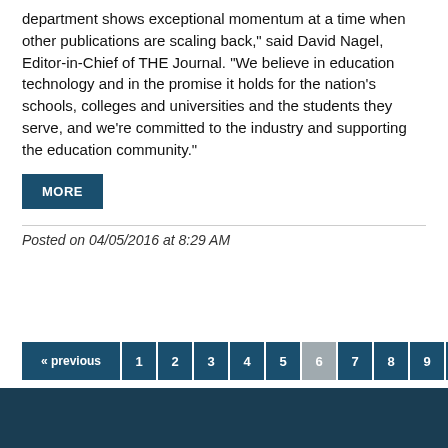department shows exceptional momentum at a time when other publications are scaling back," said David Nagel, Editor-in-Chief of THE Journal. "We believe in education technology and in the promise it holds for the nation's schools, colleges and universities and the students they serve, and we're committed to the industry and supporting the education community."
MORE
Posted on 04/05/2016 at 8:29 AM
« previous
1
2
3
4
5
6
7
8
9
10
11
nex…